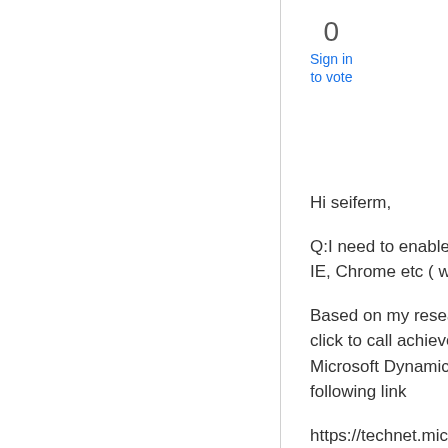0
Sign in to vote
Hi seiferm,
Q:I need to enable S4B click to call from within outlook , IE, Chrome etc ( what is the best way to do this)
Based on my research, the IE is better, because the click to call achieved by Microsoft Dynamics CRM. Microsoft Dynamics CRM support the browser like the following link
https://technet.microsoft.com/en-us/library/hh699710.aspx?f=255&MSPPError=-2147217396 #Supported versions of Internet Explorer and Microsoft Edge